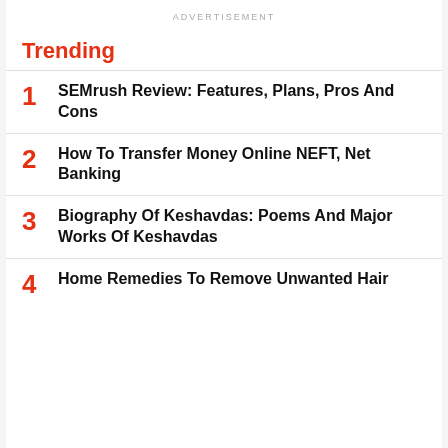ADVERTISEMENT
Trending
1 SEMrush Review: Features, Plans, Pros And Cons
2 How To Transfer Money Online NEFT, Net Banking
3 Biography Of Keshavdas: Poems And Major Works Of Keshavdas
4 Home Remedies To Remove Unwanted Hair